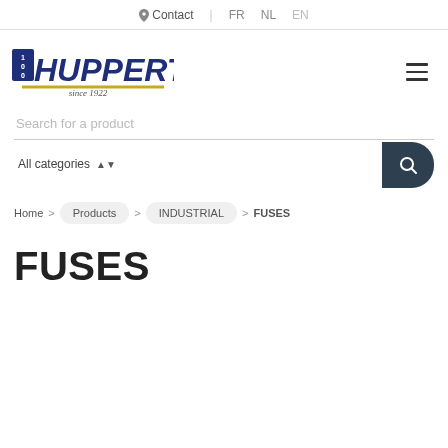Contact   FR   NL   EN
[Figure (logo): Huppertz logo with '100' badge, large bold navy blue text 'HUPPERTZ', gold underline, 'since 1922' text]
Search for a product
All categories
Home > Products > INDUSTRIAL > FUSES
FUSES